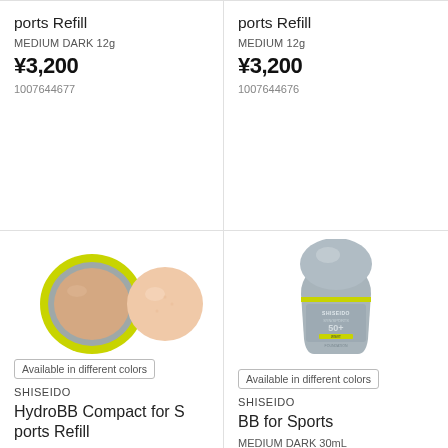HydroBB Compact for Sports Refill
MEDIUM DARK 12g
¥3,200
1007644677
HydroBB Compact for Sports Refill
MEDIUM 12g
¥3,200
1007644676
[Figure (photo): Shiseido HydroBB Compact for Sports Refill compact open showing beige powder pan with lime green case and round applicator sponge]
Available in different colors
SHISEIDO
HydroBB Compact for Sports Refill
LIGHT 12g
[Figure (photo): Shiseido BB for Sports grey rounded bottle with lime green stripe and SPF 50+ label]
Available in different colors
SHISEIDO
BB for Sports
MEDIUM DARK 30mL